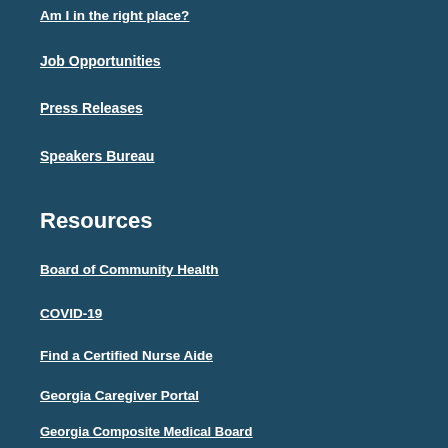Am I in the right place?
Job Opportunities
Press Releases
Speakers Bureau
Resources
Board of Community Health
COVID-19
Find a Certified Nurse Aide
Georgia Caregiver Portal
Georgia Composite Medical Board
Hospital Transparency Information